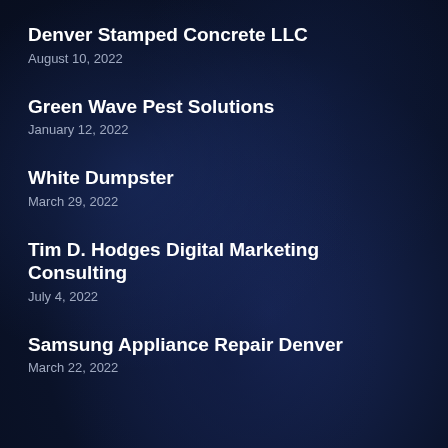Denver Stamped Concrete LLC
August 10, 2022
Green Wave Pest Solutions
January 12, 2022
White Dumpster
March 29, 2022
Tim D. Hodges Digital Marketing Consulting
July 4, 2022
Samsung Appliance Repair Denver
March 22, 2022